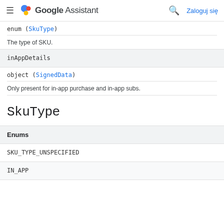Google Assistant — Zaloguj się
enum (SkuType)
The type of SKU.
inAppDetails
object (SignedData)
Only present for in-app purchase and in-app subs.
SkuType
| Enums |
| --- |
| SKU_TYPE_UNSPECIFIED |
| IN_APP |